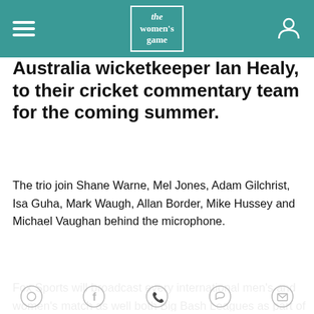the women's game
Australia wicketkeeper Ian Healy, to their cricket commentary team for the coming summer.
The trio join Shane Warne, Mel Jones, Adam Gilchrist, Isa Guha, Mark Waugh, Allan Border, Mike Hussey and Michael Vaughan behind the microphone.
Fox Sports will broadcast every international men's and women's match as well both Big Bash Leagues as part of a new $1.182 billion broadcast deal which has also seen Channel Seven, (formerly Channel Nine and Network Ten) broadcast the games.
By using our site you accept that we use and share cookies and similar technologies to perform analytics and provide content and ads tailored to your interests. By continuing to use our site, you consent to this. Please see our Cookie Policy for more information.